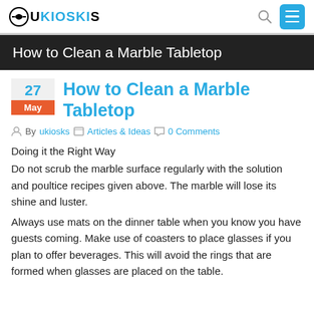ukiosks — navigation header with search and menu
How to Clean a Marble Tabletop
How to Clean a Marble Tabletop
By ukiosks   Articles & Ideas   0 Comments
Doing it the Right Way
Do not scrub the marble surface regularly with the solution and poultice recipes given above. The marble will lose its shine and luster.
Always use mats on the dinner table when you know you have guests coming. Make use of coasters to place glasses if you plan to offer beverages. This will avoid the rings that are formed when glasses are placed on the table.